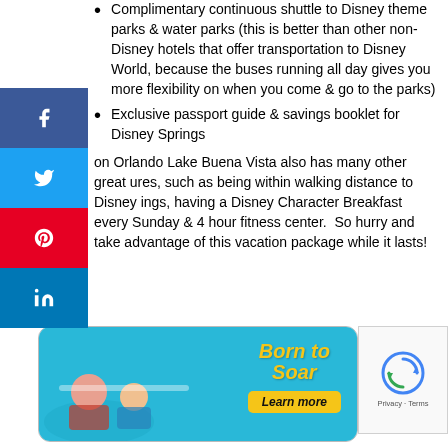Complimentary continuous shuttle to Disney theme parks & water parks (this is better than other non-Disney hotels that offer transportation to Disney World, because the buses running all day gives you more flexibility on when you come & go to the parks)
Exclusive passport guide & savings booklet for Disney Springs
on Orlando Lake Buena Vista also has many other great ures, such as being within walking distance to Disney ings, having a Disney Character Breakfast every Sunday & 4 hour fitness center.  So hurry and take advantage of this vacation package while it lasts!
[Figure (illustration): Advertisement banner with blue background, 'Born to Soar' text in yellow italic bold font, and a 'Learn more' yellow button. Shows people on a ride.]
[Figure (other): Google reCAPTCHA badge with spinning arrows icon and 'Privacy · Terms' text]